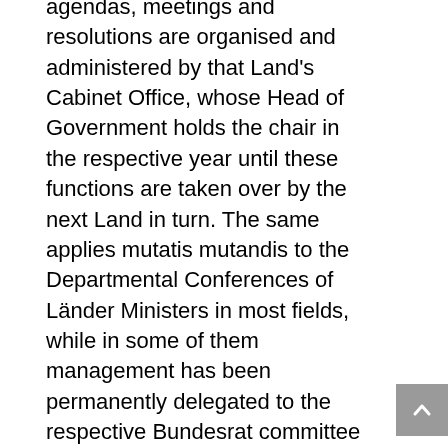agendas, meetings and resolutions are organised and administered by that Land's Cabinet Office, whose Head of Government holds the chair in the respective year until these functions are taken over by the next Land in turn. The same applies mutatis mutandis to the Departmental Conferences of Länder Ministers in most fields, while in some of them management has been permanently delegated to the respective Bundesrat committee secretariats (as e.g. in the areas of finance and home affairs). In no case, though, are managerial functions on the "Third Level" ever a matter for any federal governmental institution. Summary on the Three Pillars and Leading Constitutional Principles In summing-up the main functions of the three pillars of intergovernmental mechanisms in Germany are, therefore, the following ones: – co-ordination and preparation of voting, and finally voting itself about federal and European legislation in the pillar of the